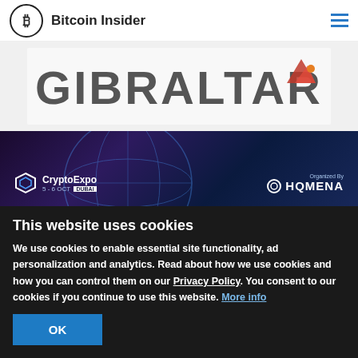Bitcoin Insider
[Figure (screenshot): Gibraltar logo/banner with large grey text 'GIBRALTAR' and a small red/orange bird graphic to the right]
[Figure (screenshot): CryptoExpo Dubai banner with dark blue/purple background, globe wireframe graphic, CryptoExpo logo on left, 'Organized By HQMENA' on right]
This website uses cookies
We use cookies to enable essential site functionality, ad personalization and analytics. Read about how we use cookies and how you can control them on our Privacy Policy. You consent to our cookies if you continue to use this website. More info
OK